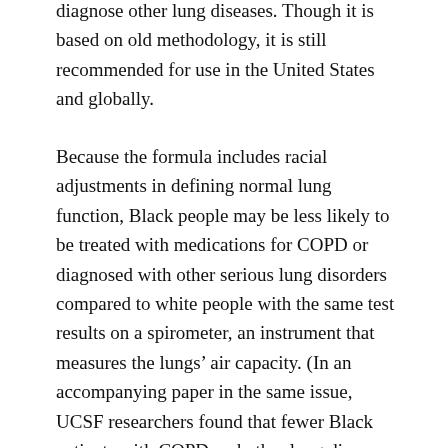diagnose other lung diseases. Though it is based on old methodology, it is still recommended for use in the United States and globally.
Because the formula includes racial adjustments in defining normal lung function, Black people may be less likely to be treated with medications for COPD or diagnosed with other serious lung disorders compared to white people with the same test results on a spirometer, an instrument that measures the lungs' air capacity. (In an accompanying paper in the same issue, UCSF researchers found that fewer Black patients with COPD and other lung diseases are diagnosed correctly because of the race-based formula).
History of the formula